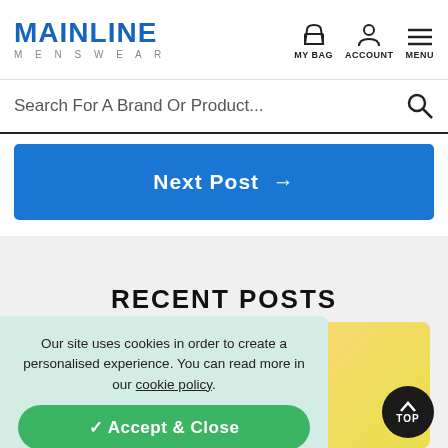MAINLINE MENSWEAR — MY BAG  ACCOUNT  MENU
Search For A Brand Or Product...
Next Post →
RECENT POSTS
[Figure (other): Yellow-orange gradient card thumbnail for a recent post]
Our site uses cookies in order to create a personalised experience. You can read more in our cookie policy.
✓ Accept & Close